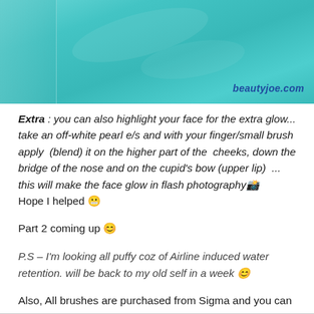[Figure (photo): Photo of turquoise/teal satin fabric with lace detail on left side, watermark reading 'beautyjoe.com' in bottom right]
Extra : you can also highlight your face for the extra glow... take an off-white pearl e/s and with your finger/small brush apply (blend) it on the higher part of the cheeks, down the bridge of the nose and on the cupid's bow (upper lip) ... this will make the face glow in flash photography Hope I helped
Part 2 coming up
P.S – I'm looking all puffy coz of Airline induced water retention. will be back to my old self in a week
Also, All brushes are purchased from Sigma and you can get them here.